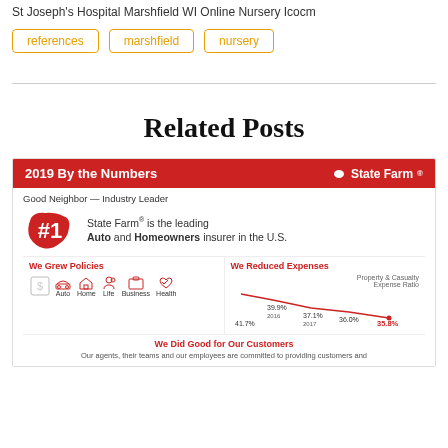St Joseph's Hospital Marshfield WI Online Nursery Icocm
references
marshfield
nursery
Related Posts
[Figure (infographic): State Farm 2019 By the Numbers infographic. Red header bar with State Farm logo. '#1' on US map shape, text: State Farm is the leading Auto and Homeowners insurer in the U.S. Two panels: We Grew Policies (Auto, Home, Life, Business, Health icons) and We Reduced Expenses (line chart showing Property & Casualty Expense Ratio declining from 41.7% in 2015 to 35.8% in 2019). We Did Good for Our Customers section with agent commitment text.]